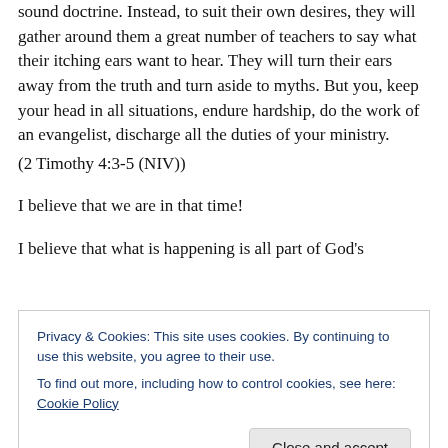sound doctrine. Instead, to suit their own desires, they will gather around them a great number of teachers to say what their itching ears want to hear. They will turn their ears away from the truth and turn aside to myths. But you, keep your head in all situations, endure hardship, do the work of an evangelist, discharge all the duties of your ministry.
(2 Timothy 4:3-5 (NIV))
I believe that we are in that time!
I believe that what is happening is all part of God's
Privacy & Cookies: This site uses cookies. By continuing to use this website, you agree to their use.
To find out more, including how to control cookies, see here: Cookie Policy